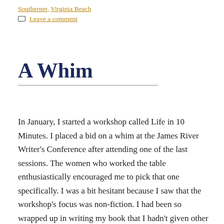Southerner, Virginia Beach
Leave a comment
A Whim
In January, I started a workshop called Life in 10 Minutes. I placed a bid on a whim at the James River Writer's Conference after attending one of the last sessions. The women who worked the table enthusiastically encouraged me to pick that one specifically. I was a bit hesitant because I saw that the workshop's focus was non-fiction. I had been so wrapped up in writing my book that I hadn't given other genres of writing much thought.
I arrived to the first day of class, with my notebook and pen in hand, completely unaware of much else. It was a group of